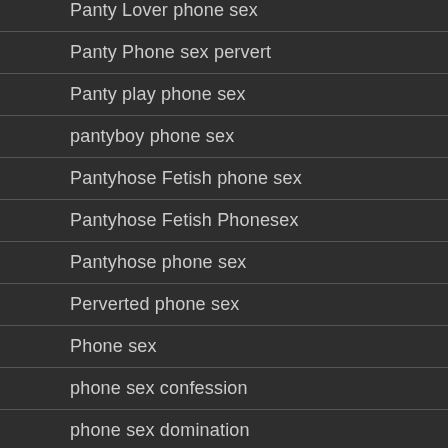Panty Lover phone sex
Panty Phone sex pervert
Panty play phone sex
pantyboy phone sex
Pantyhose Fetish phone sex
Pantyhose Fetish Phonesex
Pantyhose phone sex
Perverted phone sex
Phone sex
phone sex confession
phone sex domination
Phone Sex Encounters